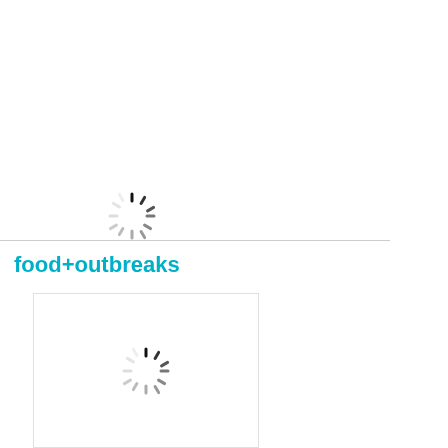[Figure (other): Loading spinner icon (circular progress indicator) in dark gray/black]
food+outbreaks
[Figure (other): Loading spinner icon inside a card/box frame, indicating content is loading]